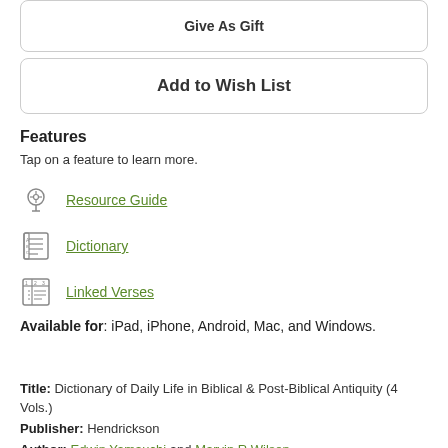Give As Gift
Add to Wish List
Features
Tap on a feature to learn more.
Resource Guide
Dictionary
Linked Verses
Available for: iPad, iPhone, Android, Mac, and Windows.
Title: Dictionary of Daily Life in Biblical & Post-Biblical Antiquity (4 Vols.) Publisher: Hendrickson Author: Edwin Yamauchi and Marvin R Wilson